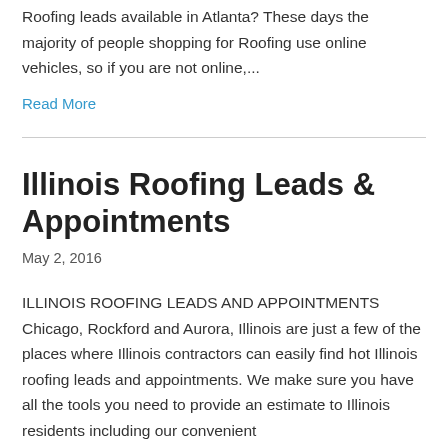Roofing leads available in Atlanta? These days the majority of people shopping for Roofing use online vehicles, so if you are not online,...
Read More
Illinois Roofing Leads & Appointments
May 2, 2016
ILLINOIS ROOFING LEADS AND APPOINTMENTS Chicago, Rockford and Aurora, Illinois are just a few of the places where Illinois contractors can easily find hot Illinois roofing leads and appointments. We make sure you have all the tools you need to provide an estimate to Illinois residents including our convenient